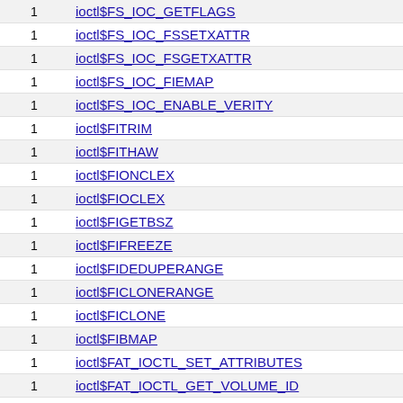| Count | Symbol |
| --- | --- |
| 1 | ioctl$FS_IOC_GETFLAGS |
| 1 | ioctl$FS_IOC_FSSETXATTR |
| 1 | ioctl$FS_IOC_FSGETXATTR |
| 1 | ioctl$FS_IOC_FIEMAP |
| 1 | ioctl$FS_IOC_ENABLE_VERITY |
| 1 | ioctl$FITRIM |
| 1 | ioctl$FITHAW |
| 1 | ioctl$FIONCLEX |
| 1 | ioctl$FIOCLEX |
| 1 | ioctl$FIGETBSZ |
| 1 | ioctl$FIFREEZE |
| 1 | ioctl$FIDEDUPERANGE |
| 1 | ioctl$FICLONERANGE |
| 1 | ioctl$FICLONE |
| 1 | ioctl$FIBMAP |
| 1 | ioctl$FAT_IOCTL_SET_ATTRIBUTES |
| 1 | ioctl$FAT_IOCTL_GET_VOLUME_ID |
| 1 | ioctl$FAT_IOCTL_GET_ATTRIBUTES |
| 1 | ioctl$F2FS_IOC_WRITE_CHECKPOINT |
| 1 | ioctl$F2FS_IOC_START_VOLATILE_WRITE |